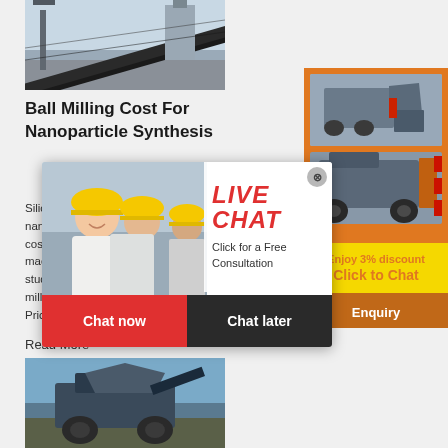[Figure (photo): Conveyor belt system at a mining/industrial facility, shown from an angle with metal framework visible against a light sky.]
Ball Milling Cost For Nanoparticle Synthesis
2019-12-31   Ball Milling Nanoparticles
Silicon carbide Powder ... Silicon ... nanoparticles ... cost of ... machine ... studied ... milled ... Price
Read More
[Figure (photo): Mining machinery / mobile crusher equipment at a work site, shown from close range with blue sky background.]
[Figure (photo): Live Chat overlay popup showing workers in yellow hard hats, with LIVE CHAT heading, 'Click for a Free Consultation' subtitle, and Chat now / Chat later buttons.]
[Figure (illustration): Right sidebar orange advertisement panel showing mining/crushing machines, discount offer 'Enjoy 3% discount / Click to Chat', Enquiry section with email limingjlmofen@sina.com]